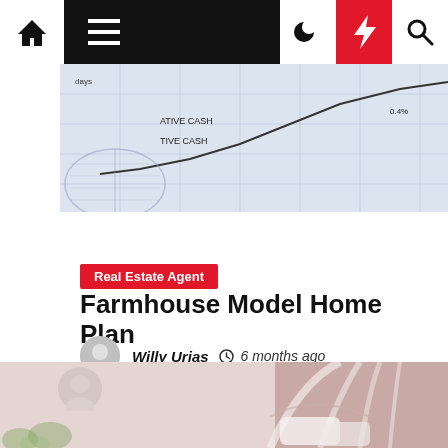Navigation bar with home, menu, moon, bolt, and search icons
[Figure (photo): Financial chart document with cash flow graph lines and grid, bluish-white tones]
Real Estate Agent
Farmhouse Model Home Plan
Willy Urias  6 months ago
[Figure (photo): Bedroom with white canopy draping, pink walls, white pillows on bed, soft feminine aesthetic]